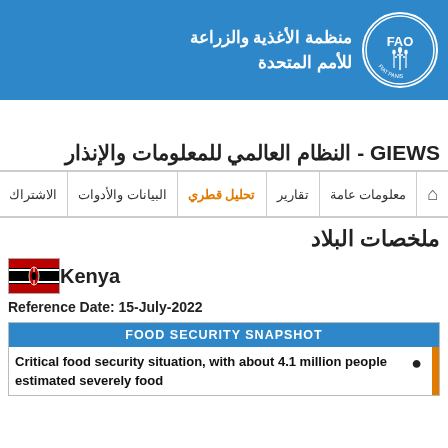[Figure (logo): FAO logo - Food and Agriculture Organization of the United Nations circular emblem in white on blue background]
منظمة الأغذية والزراعة للأمم المتحدة
GIEWS - النظام العالمي للمعلومات والإنذار
معلومات عامة  تقارير  تحليل قطري  البيانات والأدوات  الاشتراك
ملخصات البلاد
Kenya
Reference Date: 15-July-2022
FOOD SECURITY SNAPSHOT
Critical food security situation, with about 4.1 million people estimated severely food